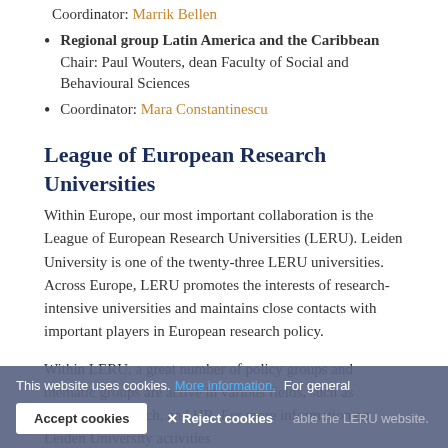Coordinator: Marrik Bellen
Regional group Latin America and the Caribbean
Chair: Paul Wouters, dean Faculty of Social and Behavioural Sciences
Coordinator: Mara Constantinescu
League of European Research Universities
Within Europe, our most important collaboration is the League of European Research Universities (LERU). Leiden University is one of the twenty-three LERU universities. Across Europe, LERU promotes the interests of research-intensive universities and maintains close contacts with important players in European research policy.
Within LERU, a great number of policy groups and thematic groups are active in various fields, such as education, research, and HR. For more information on Leiden University activities and for general information, please visit the LERU website.